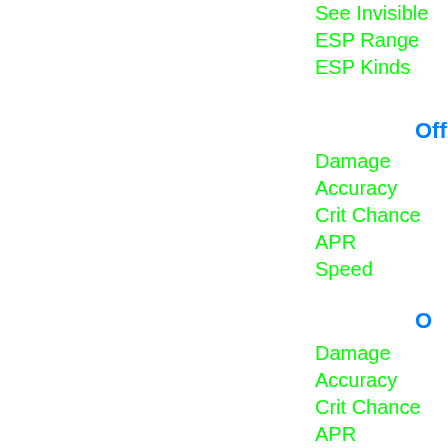See Invisible  74
ESP Range  18
ESP Kinds  u
Off
Damage  49
Accuracy  39
Crit Chance  18
APR  27
Speed  18
O
Damage  24
Accuracy  47
Crit Chance  24
APR  58
Speed  18